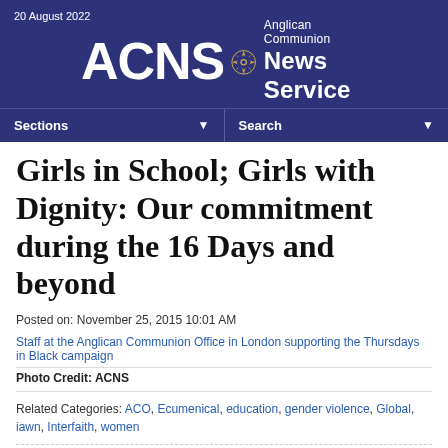20 August 2022 | ACNS Anglican Communion News Service
Girls in School; Girls with Dignity: Our commitment during the 16 Days and beyond
Posted on: November 25, 2015 10:01 AM
Staff at the Anglican Communion Office in London supporting the Thursdays in Black campaign
Photo Credit: ACNS
Related Categories: ACO, Ecumenical, education, gender violence, Global, iawn, Interfaith, women
For the 16 Days of Activism against Gender-based Violence, we have joined together as a faith-based coalition to focus on ending